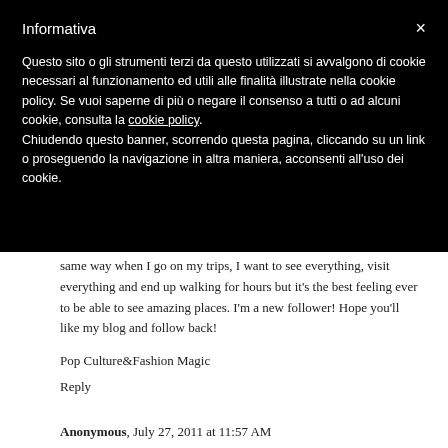Informativa ×
Questo sito o gli strumenti terzi da questo utilizzati si avvalgono di cookie necessari al funzionamento ed utili alle finalità illustrate nella cookie policy. Se vuoi saperne di più o negare il consenso a tutti o ad alcuni cookie, consulta la cookie policy. Chiudendo questo banner, scorrendo questa pagina, cliccando su un link o proseguendo la navigazione in altra maniera, acconsenti all'uso dei cookie.
same way when I go on my trips, I want to see everything, visit everything and end up walking for hours but it's the best feeling ever to be able to see amazing places. I'm a new follower! Hope you'll like my blog and follow back!
Pop Culture&Fashion Magic
Reply
Anonymous, July 27, 2011 at 11:57 AM